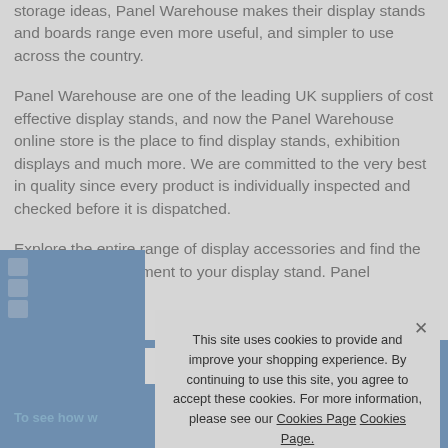storage ideas, Panel Warehouse makes their display stands and boards range even more useful, and simpler to use across the country.
Panel Warehouse are one of the leading UK suppliers of cost effective display stands, and now the Panel Warehouse online store is the place to find display stands, exhibition displays and much more. We are committed to the very best in quality since every product is individually inspected and checked before it is dispatched.
Explore the entire range of display accessories and find the perfect accompaniment to your display stand. Panel Warehouse exhib...
[Figure (screenshot): Cookie consent dialog overlay on the Panel Warehouse website. Dialog reads: 'This site uses cookies to provide and improve your shopping experience. By continuing to use this site, you agree to accept these cookies. For more information, please see our Cookies Page Cookies Page.' Below that: 'I opt-in to a better browsing experience' and an 'ACCEPT COOKIES' button. A close X is in the top-right corner of the dialog.]